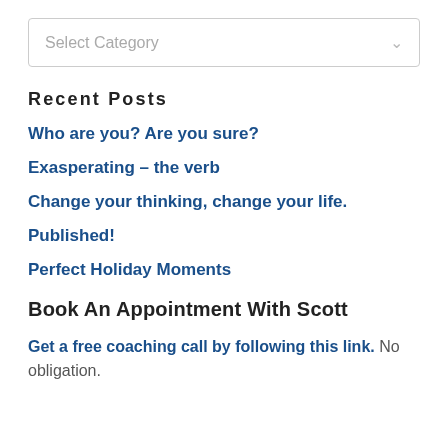[Figure (screenshot): Dropdown select box with placeholder text 'Select Category' and a chevron arrow on the right]
Recent Posts
Who are you? Are you sure?
Exasperating – the verb
Change your thinking, change your life.
Published!
Perfect Holiday Moments
Book An Appointment With Scott
Get a free coaching call by following this link. No obligation.